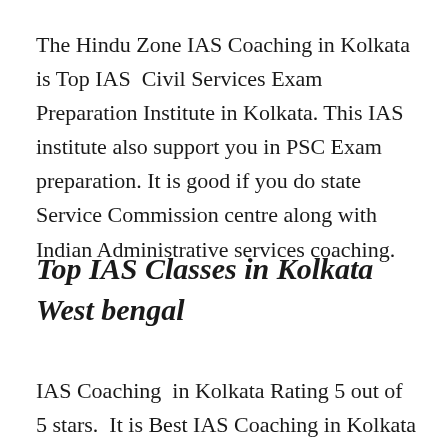The Hindu Zone IAS Coaching in Kolkata is Top IAS Civil Services Exam Preparation Institute in Kolkata. This IAS institute also support you in PSC Exam preparation. It is good if you do state Service Commission centre along with Indian Administrative services coaching.
Top IAS Classes in Kolkata West bengal
IAS Coaching in Kolkata Rating 5 out of 5 stars. It is Best IAS Coaching in Kolkata for UPSC CSE Exam Preparation. Best Training Lectures for IAS